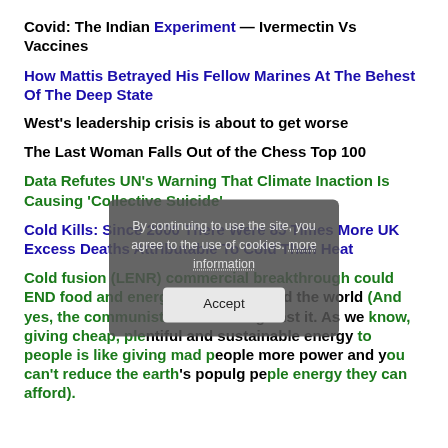Covid: The Indian Experiment — Ivermectin Vs Vaccines
How Mattis Betrayed His Fellow Marines At The Behest Of The Deep State
West's leadership crisis is about to get worse
The Last Woman Falls Out of the Chess Top 100
Data Refutes UN's Warning That Climate Inaction Is Causing 'Collective Suicide'
Cold Kills: Since 2000 There Were 85 Times More UK Excess Deaths Attributable To Cold Than Heat
Cold fusion (LENR) commercial breakthrough could END food and energy scarcity around the world (And yes, the communists will be all against it. As we know, giving cheap, plentiful and sustainable energy to people is like giving mad people more power and you can't reduce the earth's population by giving people energy they can afford).
By continuing to use the site, you agree to the use of cookies. more information — Accept